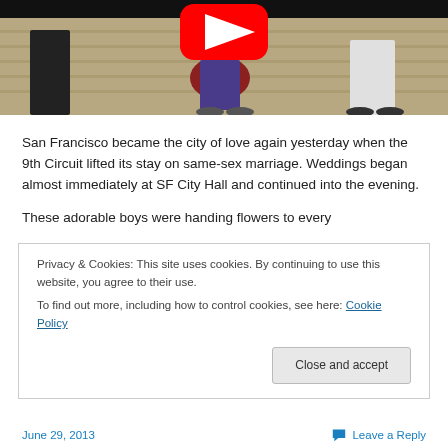[Figure (screenshot): YouTube video thumbnail showing people on stone steps, with YouTube play button visible at top center. Scene appears to be outdoors on stone stairs.]
San Francisco became the city of love again yesterday when the 9th Circuit lifted its stay on same-sex marriage. Weddings began almost immediately at SF City Hall and continued into the evening.
These adorable boys were handing flowers to every
Privacy & Cookies: This site uses cookies. By continuing to use this website, you agree to their use.
To find out more, including how to control cookies, see here: Cookie Policy
June 29, 2013    Leave a Reply